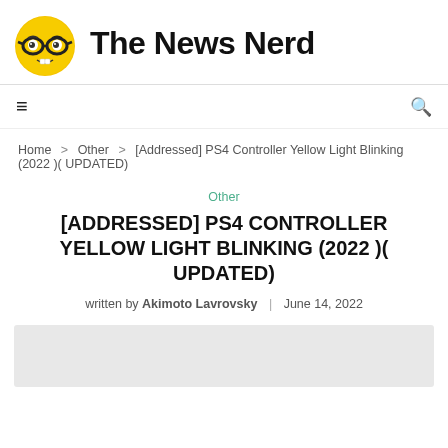[Figure (logo): The News Nerd logo: yellow nerd emoji with glasses next to bold text 'The News Nerd']
≡   🔍
Home > Other > [Addressed] PS4 Controller Yellow Light Blinking (2022 )( UPDATED)
Other
[ADDRESSED] PS4 CONTROLLER YELLOW LIGHT BLINKING (2022 )( UPDATED)
written by Akimoto Lavrovsky | June 14, 2022
[Figure (photo): Light gray image placeholder rectangle]